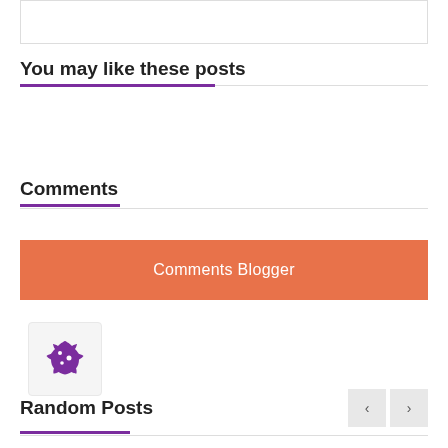[Figure (screenshot): Empty white box with border at top of page]
You may like these posts
Comments
Comments Blogger
Random Posts